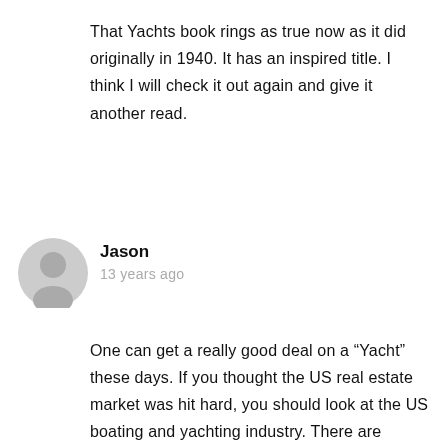That Yachts book rings as true now as it did originally in 1940. It has an inspired title. I think I will check it out again and give it another read.
Jason
13 years ago
One can get a really good deal on a “Yacht” these days. If you thought the US real estate market was hit hard, you should look at the US boating and yachting industry. There are amazing deals to be had... Maybe Saut and Maludin bought a “yacht foreclosure” from one of their clients who lost all their money in the market crash?